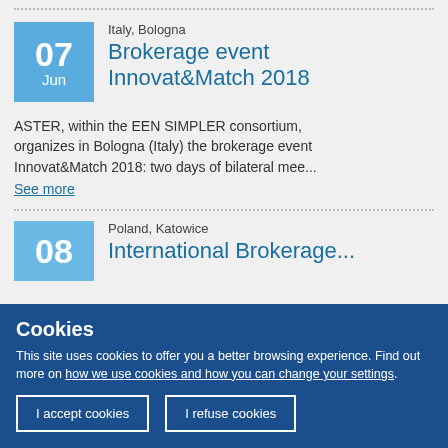Italy, Bologna
Brokerage event Innovat&Match 2018
ASTER, within the EEN SIMPLER consortium, organizes in Bologna (Italy) the brokerage event Innovat&Match 2018: two days of bilateral mee...
See more
Poland, Katowice
International Brokerage...
Cookies
This site uses cookies to offer you a better browsing experience. Find out more on how we use cookies and how you can change your settings.
I accept cookies
I refuse cookies